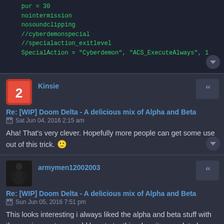[Figure (screenshot): Code block showing game configuration: pur = 30, nointermission, nosoundclipping, //cyberdemonspecial, //specialaction_exitlevel, SpecialAction = "Cyberdemon", "ACS_ExecuteAlways", 1]
Kinsie
Re: [WIP] Doom Delta - A delicious mix of Alpha and Beta
Sat Jun 04, 2016 2:15 am
Aha! That's very clever. Hopefully more people can get some use out of this trick. 🙂
armymen12002003
Re: [WIP] Doom Delta - A delicious mix of Alpha and Beta
Sun Jun 05, 2016 7:51 pm
This looks interesting i always liked the alpha and beta stuff with the scoring system would love to try this when its completed